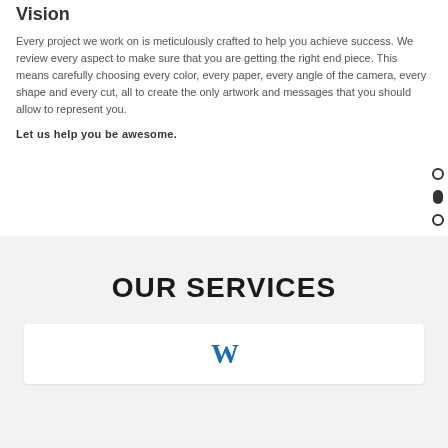Vision
Every project we work on is meticulously crafted to help you achieve success. We review every aspect to make sure that you are getting the right end piece. This means carefully choosing every color, every paper, every angle of the camera, every shape and every cut, all to create the only artwork and messages that you should allow to represent you.
Let us help you be awesome.
OUR SERVICES
[Figure (logo): Blue stylized W logo mark]